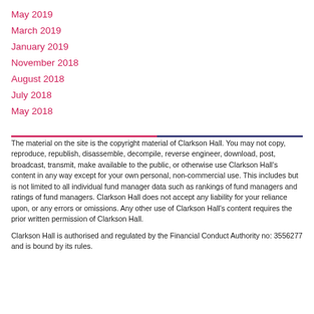May 2019
March 2019
January 2019
November 2018
August 2018
July 2018
May 2018
The material on the site is the copyright material of Clarkson Hall. You may not copy, reproduce, republish, disassemble, decompile, reverse engineer, download, post, broadcast, transmit, make available to the public, or otherwise use Clarkson Hall's content in any way except for your own personal, non-commercial use. This includes but is not limited to all individual fund manager data such as rankings of fund managers and ratings of fund managers. Clarkson Hall does not accept any liability for your reliance upon, or any errors or omissions. Any other use of Clarkson Hall's content requires the prior written permission of Clarkson Hall.
Clarkson Hall is authorised and regulated by the Financial Conduct Authority no: 3556277 and is bound by its rules.